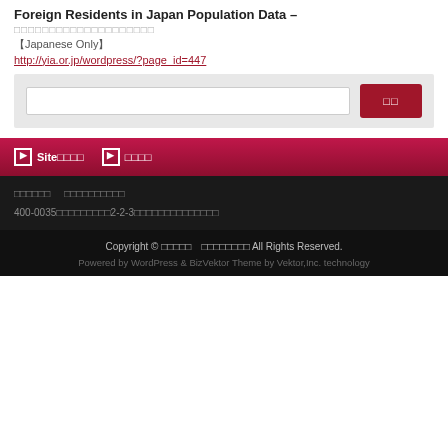Foreign Residents in Japan Population Data –
【Japanese Only】
http://yia.or.jp/wordpress/?page_id=447
[Figure (screenshot): Search bar with text input field and a crimson/dark red search button with Japanese characters]
Site□□□□  □  □□□□
□□□□□□  □□□□□□□□□□
400-0035□□□□□□□□□2-2-3□□□□□□□□□□□□□□
Copyright © □□□□□  □□□□□□□□ All Rights Reserved.
Powered by WordPress & BizVektor Theme by Vektor,Inc. technology